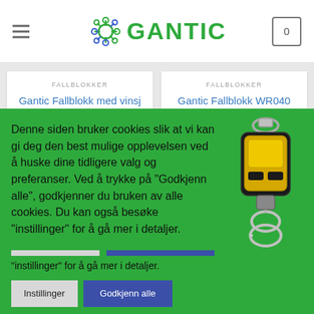GANTIC — navigation header with hamburger menu and cart
FALLBLOKKER
Gantic Fallblokk med vinsj CRW300
kr 24.725,00 eks. mva.
VELG ALTERNATIV
FALLBLOKKER
Gantic Fallblokk WR040
kr 2.976,00 eks. mva.
KJØP
Denne siden bruker cookies slik at vi kan gi deg den best mulige opplevelsen ved å huske dine tidligere valg og preferanser. Ved å trykke på "Godkjenn alle", godkjenner du bruken av alle cookies. Du kan også besøke "instillinger" for å gå mer i detaljer.
Instillinger
Godkjenn alle
FALLBLOKKER
FALLBLOKKER